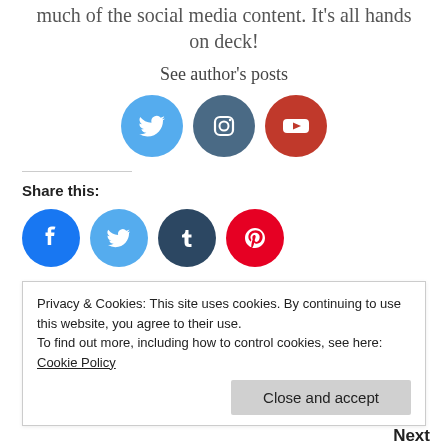much of the social media content. It's all hands on deck!
See author's posts
[Figure (illustration): Three social media icon circles: Twitter (light blue), Instagram (dark teal), YouTube (red)]
Share this:
[Figure (illustration): Four social share icon circles: Facebook (blue), Twitter (cyan), Tumblr (dark navy), Pinterest (red)]
Tags: Cassian Andor, d23, D23 Expo, D23Expo, disney, Disney D23, Disneyland, Ewan McGregor, Kenobi, Mandalorian
Privacy & Cookies: This site uses cookies. By continuing to use this website, you agree to their use.
To find out more, including how to control cookies, see here: Cookie Policy
Close and accept
Next